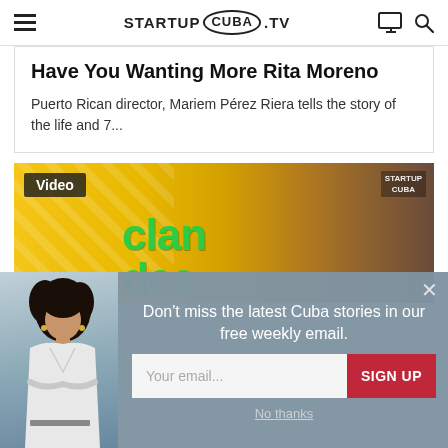STARTUP CUBA TV
Have You Wanting More Rita Moreno
Puerto Rican director, Mariem Pérez Riera tells the story of the life and 7...
[Figure (photo): Video thumbnail showing a yellow taxi cab and a person holding a green bag with the text 'clan' visible. A 'Video' label overlay is in the top-left corner and a Startup Cuba watermark in the top-right.]
[Figure (photo): Email subscription modal popup with a woman photo on the left, and a form on the right saying 'Don't miss the latest Cuba stories in our free weekly email.' with an email input field and a red SIGN UP button. A 'No thanks' link is below.]